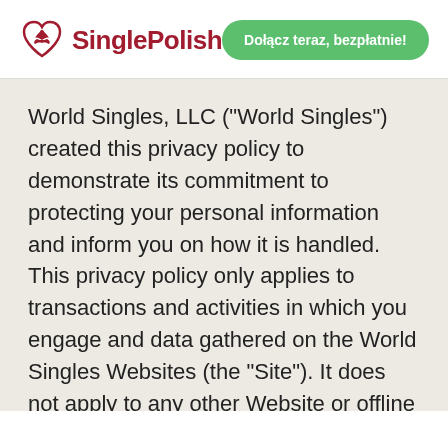[Figure (logo): SinglePolish logo with heart/eagle icon and red text, plus a green 'Dołącz teraz, bezpłatnie!' button]
World Singles, LLC ("World Singles") created this privacy policy to demonstrate its commitment to protecting your personal information and inform you on how it is handled. This privacy policy only applies to transactions and activities in which you engage and data gathered on the World Singles Websites (the “Site”). It does not apply to any other Website or offline point of contact between World Singles, or any other company and